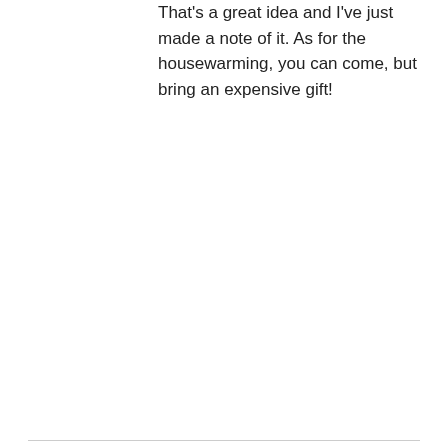That's a great idea and I've just made a note of it. As for the housewarming, you can come, but bring an expensive gift!
Posted at August 17, 2018
[Figure (photo): Profile photo of Helena, a smiling blonde woman with glasses]
Helena
Participant
Well that rules me out then, lol.
Posted at August 17, 2018
[Figure (illustration): Illustrated avatar of a woman with red hair on a pink background]